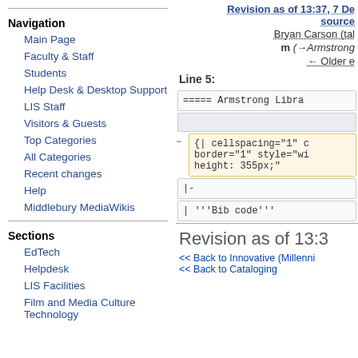Navigation
Main Page
Faculty & Staff
Students
Help Desk & Desktop Support
LIS Staff
Visitors & Guests
Top Categories
All Categories
Recent changes
Help
Middlebury MediaWikis
Sections
EdTech
Helpdesk
LIS Facilities
Film and Media Culture Technology
Revision as of 13:37, 7 De... source
Bryan Carson (tal
m (→Armstrong
← Older e
Line 5:
===== Armstrong Libra
{| cellspacing="1" c border="1" style="wi height: 355px;"
|-
| '''Bib code'''
Revision as of 13:3
<< Back to Innovative (Millenni << Back to Cataloging